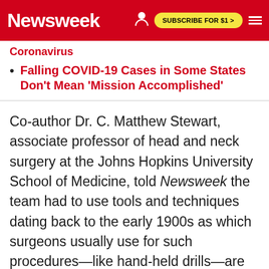Newsweek | SUBSCRIBE FOR $1 >
Coronavirus
Falling COVID-19 Cases in Some States Don't Mean 'Mission Accomplished'
Co-author Dr. C. Matthew Stewart, associate professor of head and neck surgery at the Johns Hopkins University School of Medicine, told Newsweek the team had to use tools and techniques dating back to the early 1900s as which surgeons usually use for such procedures—like hand-held drills—are not safe to use during the COVID-19 pandemic. That's